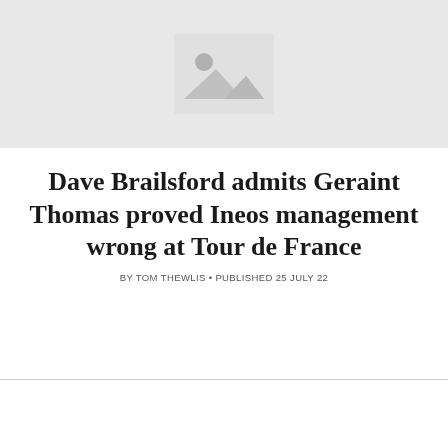[Figure (photo): Placeholder image with mountain/landscape icon on light grey background]
Dave Brailsford admits Geraint Thomas proved Ineos management wrong at Tour de France
BY TOM THEWLIS • PUBLISHED 25 JULY 22